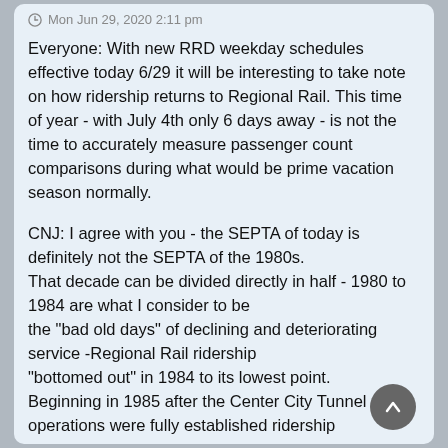Mon Jun 29, 2020 2:11 pm
Everyone: With new RRD weekday schedules effective today 6/29 it will be interesting to take note on how ridership returns to Regional Rail. This time of year - with July 4th only 6 days away - is not the time to accurately measure passenger count comparisons during what would be prime vacation season normally.
CNJ: I agree with you - the SEPTA of today is definitely not the SEPTA of the 1980s. That decade can be divided directly in half - 1980 to 1984 are what I consider to be the "bad old days" of declining and deteriorating service -Regional Rail ridership "bottomed out" in 1984 to its lowest point. Beginning in 1985 after the Center City Tunnel operations were fully established ridership